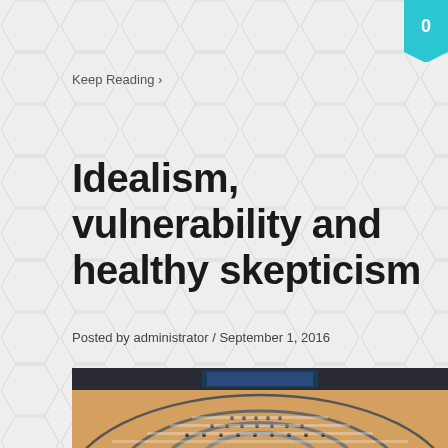0
Keep Reading ›
Idealism, vulnerability and healthy skepticism
Posted by administrator / September 1, 2016
[Figure (photo): Aerial view of a large circular assembly hall filled with delegates at rows of curved desks, with large screens at the front.]